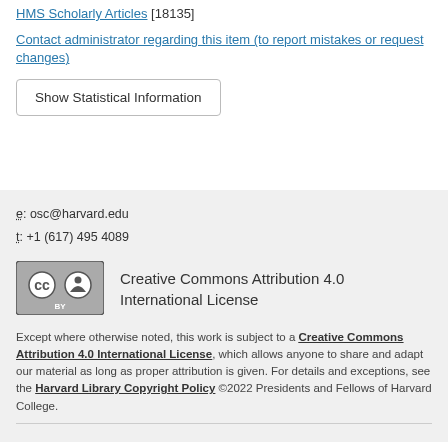HMS Scholarly Articles [18135]
Contact administrator regarding this item (to report mistakes or request changes)
Show Statistical Information
e: osc@harvard.edu
t: +1 (617) 495 4089
[Figure (logo): Creative Commons Attribution (CC BY) license badge]
Creative Commons Attribution 4.0 International License
Except where otherwise noted, this work is subject to a Creative Commons Attribution 4.0 International License, which allows anyone to share and adapt our material as long as proper attribution is given. For details and exceptions, see the Harvard Library Copyright Policy ©2022 Presidents and Fellows of Harvard College.